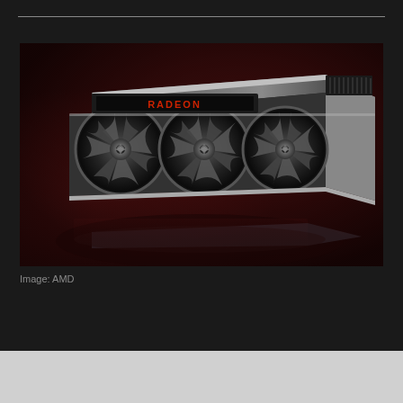[Figure (photo): AMD Radeon RX 6000 series GPU graphics card with three fans, silver and black design, red RADEON logo illuminated on top, photographed at an angle against a dark red background with reflection below]
Image: AMD